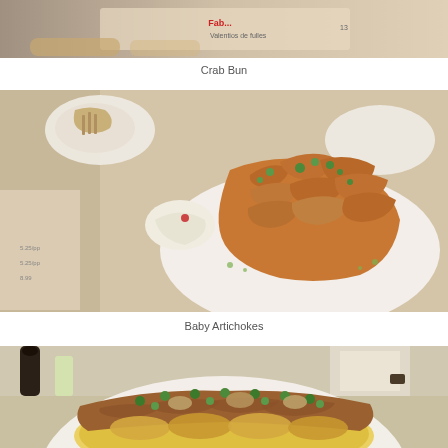[Figure (photo): Top portion of a food photo showing Crab Bun dish on a plate with a menu visible in the background]
Crab Bun
[Figure (photo): Baby Artichokes dish served on a white plate with bone-in preparation, garnished with green herbs, with a mashed side and menu visible]
Baby Artichokes
[Figure (photo): Fish dish (appears to be a crispy-skinned fish fillet) served on a white plate with golden sauce and herb garnish, restaurant background visible]